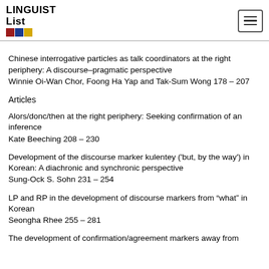LINGUIST List
Chinese interrogative particles as talk coordinators at the right periphery: A discourse–pragmatic perspective
Winnie Oi-Wan Chor, Foong Ha Yap and Tak-Sum Wong 178 – 207
Articles
Alors/donc/then at the right periphery: Seeking confirmation of an inference
Kate Beeching 208 – 230
Development of the discourse marker kulentey ('but, by the way') in Korean: A diachronic and synchronic perspective
Sung-Ock S. Sohn 231 – 254
LP and RP in the development of discourse markers from “what” in Korean
Seongha Rhee 255 – 281
The development of confirmation/agreement markers away from